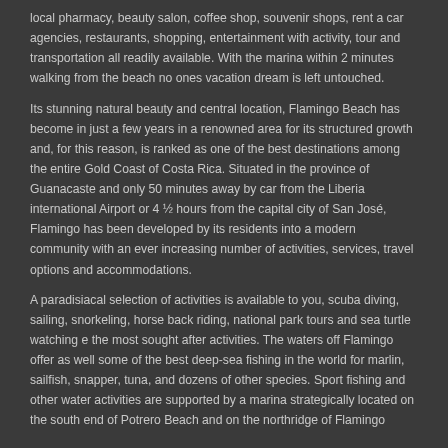local pharmacy, beauty salon, coffee shop, souvenir shops, rent a car agencies, restaurants, shopping, entertainment with activity, tour and transportation all readily available.  With the marina within 2 minutes walking from the beach no ones vacation dream is left untouched.
Its stunning natural beauty and central location, Flamingo Beach has become in just a few years in a renowned area for its structured growth and, for this reason, is ranked as one of the best destinations among the entire Gold Coast of Costa Rica. Situated in the province of Guanacaste and only 50 minutes away by car from the Liberia international Airport  or 4 ½ hours from the capital city of San José, Flamingo has been developed by its residents into a modern community with an ever increasing number of activities, services, travel options and accommodations.
A paradisiacal selection of activities is available to you, scuba diving, sailing, snorkeling, horse back riding, national park tours and sea turtle watching e the most sought after activities. The waters off Flamingo offer as well some of the best deep-sea fishing in the world for marlin, sailfish, snapper, tuna, and dozens of other species. Sport fishing and other water activities are supported by a marina strategically located on the south end of Potrero Beach and on the northridge of Flamingo